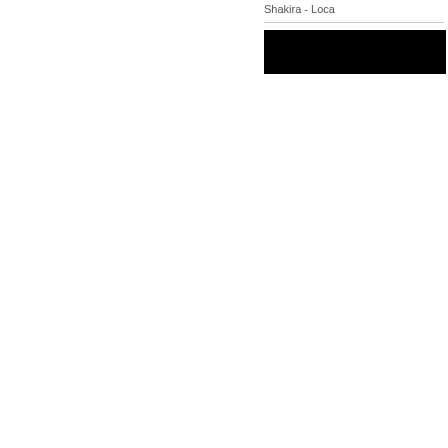Shakira - Loca
[Figure (other): Black rectangular bar, likely a redacted or placeholder image block]